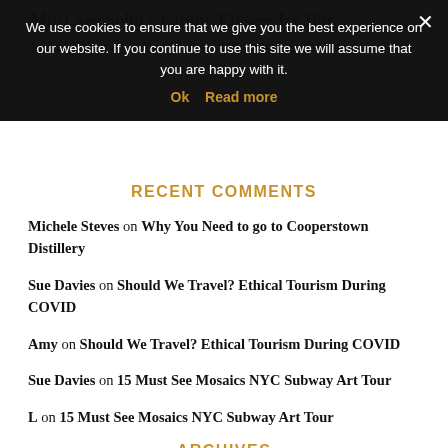Must See Soho Champs-Elysées Ice Bar
Best Things To Do Milton PA Weekend Getaway
We use cookies to ensure that we give you the best experience on our website. If you continue to use this site we will assume that you are happy with it.
Ok  Read more
RECENT COMMENTS
Michele Steves on Why You Need to go to Cooperstown Distillery
Sue Davies on Should We Travel? Ethical Tourism During COVID
Amy on Should We Travel? Ethical Tourism During COVID
Sue Davies on 15 Must See Mosaics NYC Subway Art Tour
L on 15 Must See Mosaics NYC Subway Art Tour
ARCHIVES